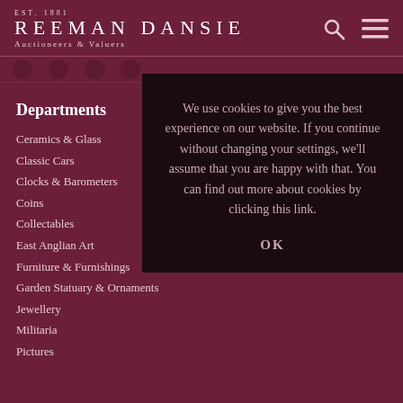EST. 1881 REEMAN DANSIE Auctioneers & Valuers
Departments
Ceramics & Glass
Classic Cars
Clocks & Barometers
Coins
Collectables
East Anglian Art
Furniture & Furnishings
Garden Statuary & Ornaments
Jewellery
Militaria
Pictures
We use cookies to give you the best experience on our website. If you continue without changing your settings, we'll assume that you are happy with that. You can find out more about cookies by clicking this link.
OK